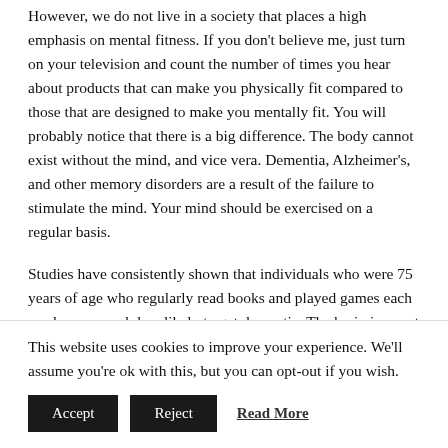However, we do not live in a society that places a high emphasis on mental fitness. If you don't believe me, just turn on your television and count the number of times you hear about products that can make you physically fit compared to those that are designed to make you mentally fit. You will probably notice that there is a big difference. The body cannot exist without the mind, and vice vera. Dementia, Alzheimer's, and other memory disorders are a result of the failure to stimulate the mind. Your mind should be exercised on a regular basis.
Studies have consistently shown that individuals who were 75 years of age who regularly read books and played games each week were much less likely to get dementia. The brain is a part of your body, and you must exercise it if you want to have a sharp memory. The connection between mental stimulation and memory is strong. The good thing about exercising your mind is that it can be done for free.
This website uses cookies to improve your experience. We'll assume you're ok with this, but you can opt-out if you wish.